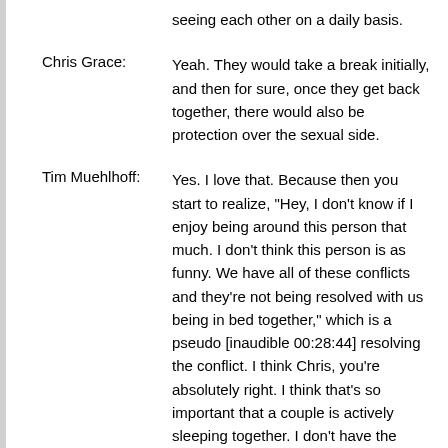seeing each other on a daily basis.
Chris Grace: Yeah. They would take a break initially, and then for sure, once they get back together, there would also be protection over the sexual side.
Tim Muehlhoff: Yes. I love that. Because then you start to realize, "Hey, I don't know if I enjoy being around this person that much. I don't think this person is as funny. We have all of these conflicts and they're not being resolved with us being in bed together," which is a pseudo [inaudible 00:28:44] resolving the conflict. I think Chris, you're absolutely right. I think that's so important that a couple is actively sleeping together. I don't have the